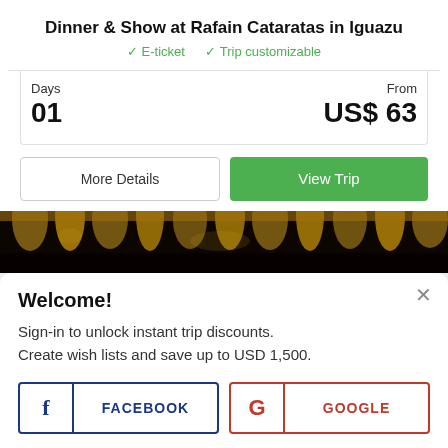Dinner & Show at Rafain Cataratas in Iguazu
✓ E-ticket  ✓ Trip customizable
Days
01
From
US$ 63
More Details | View Trip
[Figure (photo): Decorative photo of a stage/show venue with golden curtains and warm lighting, cropped strip]
Welcome!
Sign-in to unlock instant trip discounts.
Create wish lists and save up to USD 1,500.
FACEBOOK | GOOGLE login buttons
More login options here.